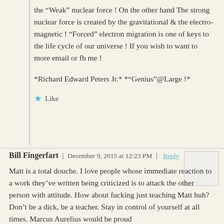the “Weak” nuclear force ! On the other hand The strong nuclear force is created by the gravitational & the electro-magnetic ! “Forced” electron migration is one of keys to the life cycle of our universe ! If you wish to want to more email or fb me !
*Richard Edward Peters Jr.* *“Genius”@Large !*
★ Like
Bill Fingerfart | December 9, 2015 at 12:23 PM | Reply
Matt is a total douche. I love people whose immediate reaction to a work they’ve written being criticized is to attack the other person with attitude. How about fucking just teaching Matt huh? Don’t be a dick, be a teacher. Stay in control of yourself at all times. Marcus Aurelius would be proud
★ Like